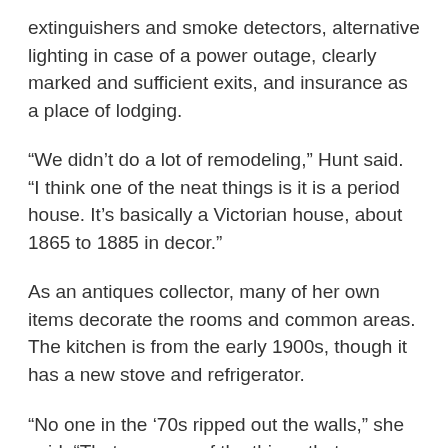extinguishers and smoke detectors, alternative lighting in case of a power outage, clearly marked and sufficient exits, and insurance as a place of lodging.
“We didn’t do a lot of remodeling,” Hunt said. “I think one of the neat things is it is a period house. It’s basically a Victorian house, about 1865 to 1885 in decor.”
As an antiques collector, many of her own items decorate the rooms and common areas. The kitchen is from the early 1900s, though it has a new stove and refrigerator.
“No one in the ‘70s ripped out the walls,” she said. “That was one of the things that was so exciting to walk into it.”